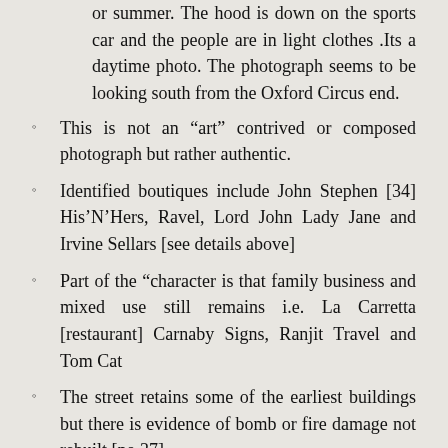or summer. The hood is down on the sports car and the people are in light clothes .Its a daytime photo. The photograph seems to be looking south from the Oxford Circus end.
This is not an “art” contrived or composed photograph but rather authentic.
Identified boutiques include John Stephen [34] His’N’Hers, Ravel, Lord John Lady Jane and Irvine Sellars [see details above]
Part of the “character is that family business and mixed use still remains i.e. La Carretta [restaurant] Carnaby Signs, Ranjit Travel and Tom Cat
The street retains some of the earliest buildings but there is evidence of bomb or fire damage not rebuilt [no.37]
The narrow street seems one way and there